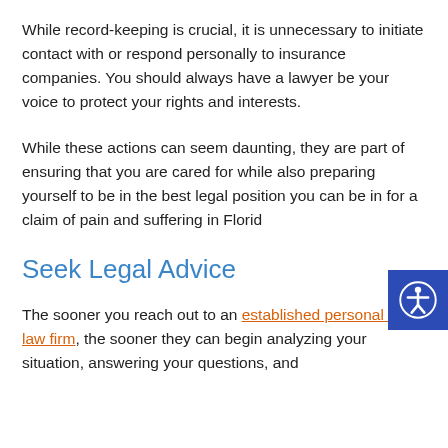While record-keeping is crucial, it is unnecessary to initiate contact with or respond personally to insurance companies. You should always have a lawyer be your voice to protect your rights and interests.
While these actions can seem daunting, they are part of ensuring that you are cared for while also preparing yourself to be in the best legal position you can be in for a claim of pain and suffering in Florida.
Seek Legal Advice
The sooner you reach out to an established personal injury law firm, the sooner they can begin analyzing your situation, answering your questions, and